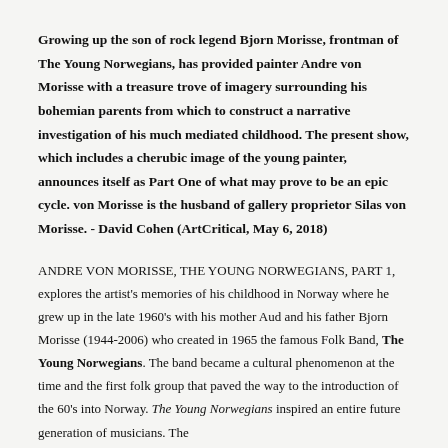Growing up the son of rock legend Bjorn Morisse, frontman of The Young Norwegians, has provided painter Andre von Morisse with a treasure trove of imagery surrounding his bohemian parents from which to construct a narrative investigation of his much mediated childhood. The present show, which includes a cherubic image of the young painter, announces itself as Part One of what may prove to be an epic cycle. von Morisse is the husband of gallery proprietor Silas von Morisse. - David Cohen (ArtCritical, May 6, 2018)
ANDRE VON MORISSE, THE YOUNG NORWEGIANS, PART 1, explores the artist's memories of his childhood in Norway where he grew up in the late 1960's with his mother Aud and his father Bjorn Morisse (1944-2006) who created in 1965 the famous Folk Band, The Young Norwegians. The band became a cultural phenomenon at the time and the first folk group that paved the way to the introduction of the 60's into Norway. The Young Norwegians inspired an entire future generation of musicians. The